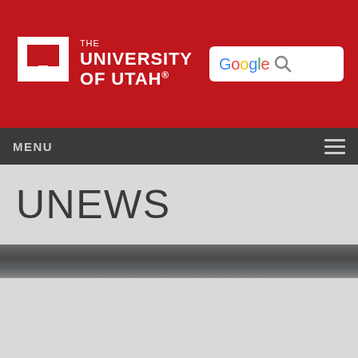[Figure (logo): The University of Utah logo with block U and text, on red background, with Google search box]
MENU
UNEWS
[Figure (other): Dark grey decorative divider stripe]